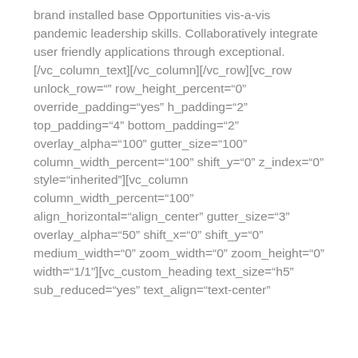brand installed base Opportunities vis-a-vis pandemic leadership skills. Collaboratively integrate user friendly applications through exceptional.[/vc_column_text][/vc_column][/vc_row][vc_row unlock_row="" row_height_percent="0" override_padding="yes" h_padding="2" top_padding="4" bottom_padding="2" overlay_alpha="100" gutter_size="100" column_width_percent="100" shift_y="0" z_index="0" style="inherited"][vc_column column_width_percent="100" align_horizontal="align_center" gutter_size="3" overlay_alpha="50" shift_x="0" shift_y="0" medium_width="0" zoom_width="0" zoom_height="0" width="1/1"][vc_custom_heading text_size="h5" sub_reduced="yes" text_align="text-center"